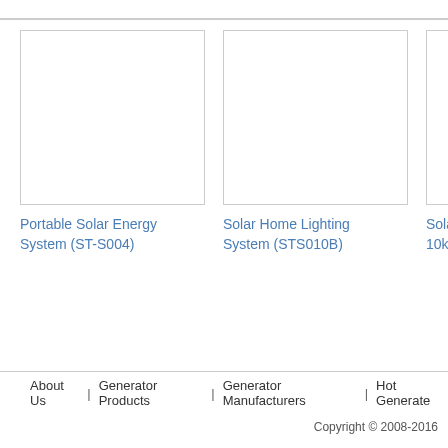[Figure (photo): Empty white product image box for Portable Solar Energy System (ST-S004)]
Portable Solar Energy System (ST-S004)
[Figure (photo): Empty white product image box for Solar Home Lighting System (STS010B)]
Solar Home Lighting System (STS010B)
[Figure (photo): Partially visible empty white product image box for Solar 10kw...]
Solar 10kw
About Us | Generator Products | Generator Manufacturers | Hot Generate
Copyright © 2008-2016